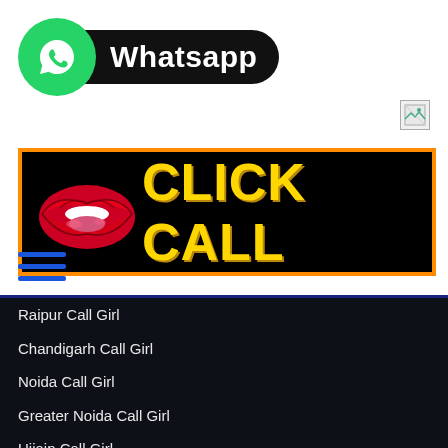[Figure (logo): WhatsApp logo with green circle and white phone icon, followed by black pill-shaped label reading 'Whatsapp']
[Figure (other): Broken image placeholder icon in top right]
[Figure (other): Black banner with orange border showing red lips illustration and bold yellow text 'CLICK CALL']
[Figure (other): Blue hamburger menu icon (three horizontal lines)]
Raipur Call Girl
Chandigarh Call Girl
Noida Call Girl
Greater Noida Call Girl
Ujjain Call Girl
Udaipur Call Girl